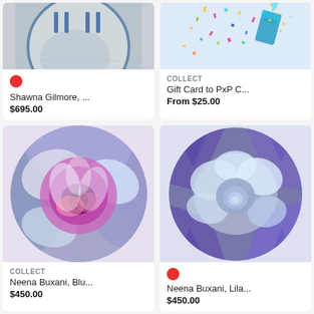[Figure (photo): Partial top view of a circular framed artwork or decorative plate with grey/blue tones]
Shawna Gilmore, ...
$695.00
[Figure (photo): Confetti and glitter spilling from a blue cup — gift card product image]
COLLECT
Gift Card to PxP C...
From $25.00
[Figure (photo): Circular painting of a pink/purple rose with lavender tones — by Neena Buxani]
COLLECT
Neena Buxani, Blu...
$450.00
[Figure (photo): Circular painting of a lilac/blue rose with purple tones — by Neena Buxani]
Neena Buxani, Lila...
$450.00